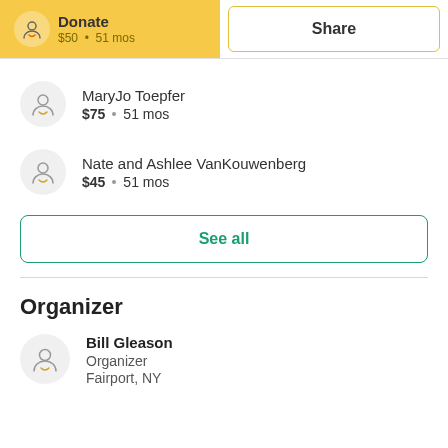Donate · $50 · 51 mos
Share
MaryJo Toepfer · $75 · 51 mos
Nate and Ashlee VanKouwenberg · $45 · 51 mos
See all
Organizer
Bill Gleason
Organizer
Fairport, NY